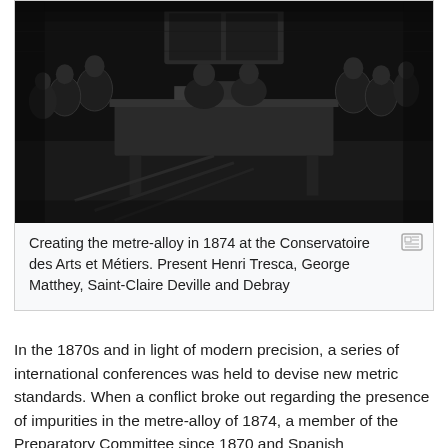[Figure (illustration): Black and white engraving showing several men gathered around a table working on creating the metre-alloy in 1874 at the Conservatoire des Arts et Métiers. The scene depicts Henri Tresca, George Matthey, Saint-Claire Deville and Debray.]
Creating the metre-alloy in 1874 at the Conservatoire des Arts et Métiers. Present Henri Tresca, George Matthey, Saint-Claire Deville and Debray
In the 1870s and in light of modern precision, a series of international conferences was held to devise new metric standards. When a conflict broke out regarding the presence of impurities in the metre-alloy of 1874, a member of the Preparatory Committee since 1870 and Spanish representative at the Paris Conference in 1875, Carlos Ibáñez e Ibáñez de Ibero intervened with the French Academy of Sciences to rally France to the project to create